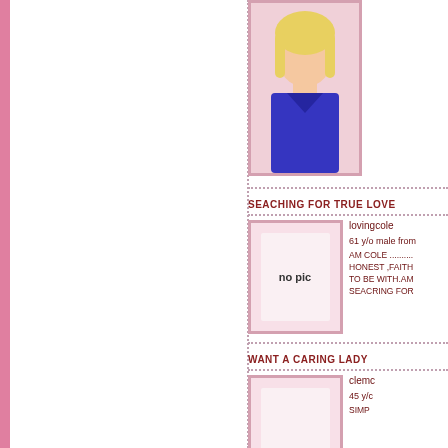[Figure (photo): Blonde woman in blue dress, top photo]
SEACHING FOR TRUE LOVE
[Figure (photo): No pic placeholder with pink border]
lovingcole
61 y/o male from
AM COLE .......... HONEST ,FAITH TO BE WITH.AM SEACRING FOR
WANT A CARING LADY
clemc
45 y/c
SIMP
[Figure (photo): Pink placeholder photo at bottom]